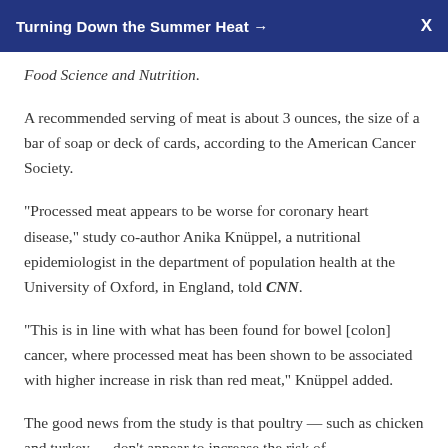Turning Down the Summer Heat →  X
Food Science and Nutrition.
A recommended serving of meat is about 3 ounces, the size of a bar of soap or deck of cards, according to the American Cancer Society.
"Processed meat appears to be worse for coronary heart disease," study co-author Anika Knüppel, a nutritional epidemiologist in the department of population health at the University of Oxford, in England, told CNN.
"This is in line with what has been found for bowel [colon] cancer, where processed meat has been shown to be associated with higher increase in risk than red meat," Knüppel added.
The good news from the study is that poultry — such as chicken and turkey — don't appear to increase the risk of